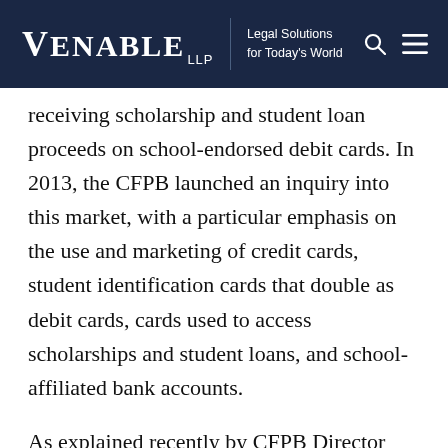VENABLE LLP | Legal Solutions for Today's World
receiving scholarship and student loan proceeds on school-endorsed debit cards. In 2013, the CFPB launched an inquiry into this market, with a particular emphasis on the use and marketing of credit cards, student identification cards that double as debit cards, cards used to access scholarships and student loans, and school-affiliated bank accounts.
As explained recently by CFPB Director Richard Cordray, "[T]he Bureau will continue